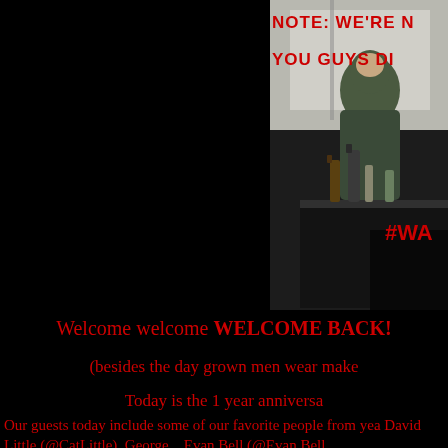[Figure (photo): A person seated at a table in what appears to be a restaurant or bar, with bottles on the table. Red text overlaid on the photo reads 'NOTE: WE'RE N...' and 'YOU GUYS DI...' and '#WA...']
Welcome welcome WELCOME BACK!
(besides the day grown men wear make
Today is the 1 year anniversa
Our guests today include some of our favorite people from yea David Little (@CatLittle), George... Evan Bell (@Evan Bell...